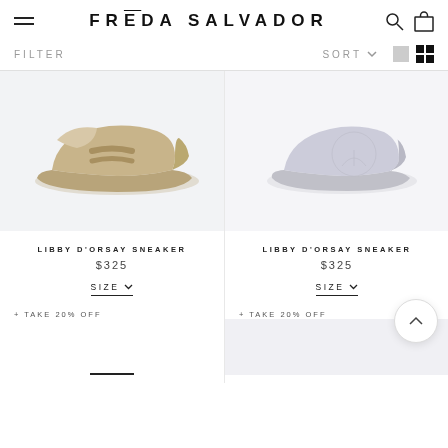FRĒDA SALVADOR
FILTER
SORT
[Figure (photo): Beige/tan Libby D'Orsay sneaker on light gray background]
[Figure (photo): Partially visible Libby D'Orsay sneaker on light gray background]
LIBBY D'ORSAY SNEAKER
$325
SIZE
+ TAKE 20% OFF
LIBBY D'ORSAY SNEAKER
$325
SIZE
+ TAKE 20% OFF